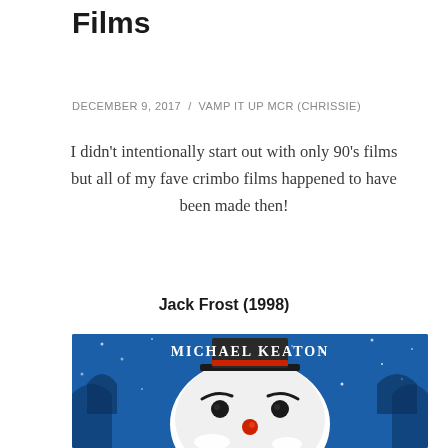My Favourite 90's Christmas Films
DECEMBER 9, 2017 / VAMP IT UP MCR (CHRISSIE)
I didn't intentionally start out with only 90's films but all of my fave crimbo films happened to have been made then!
Jack Frost (1998)
[Figure (photo): Movie poster for Jack Frost (1998) featuring a snowman with the text 'MICHAEL KEATON' at the top, showing a snowman face with dark hat, black eyes, arched eyebrows, and a red nose on a blue snowy background.]